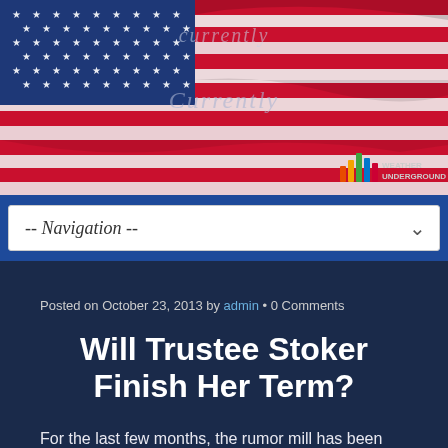[Figure (photo): American flag close-up photo with red, white, and blue stripes and stars, with semi-transparent text overlays reading 'currently' and 'Currently', and a Weather Underground badge in the bottom right corner]
-- Navigation --
Posted on October 23, 2013 by admin • 0 Comments
Will Trustee Stoker Finish Her Term?
For the last few months, the rumor mill has been churning